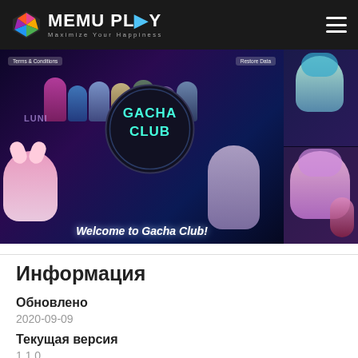[Figure (logo): MEMU PLAY logo with colorful geometric icon and tagline 'Maximize Your Happiness' on dark navigation bar]
[Figure (screenshot): Gacha Club game banner showing anime-style characters with 'GACHA CLUB' circle logo and 'Welcome to Gacha Club!' text, with terms & conditions and restore data buttons]
Информация
Обновлено
2020-09-09
Текущая версия
1.1.0